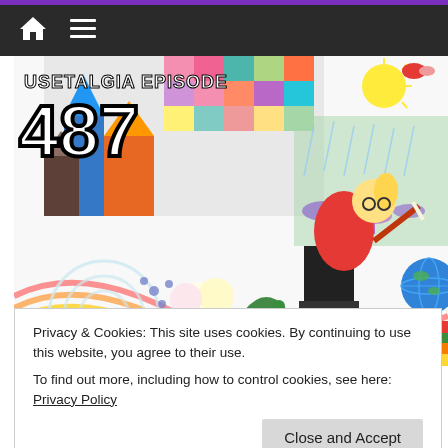Navigation bar with home and menu icons
[Figure (illustration): Mousetalgia Episode 487 podcast cover art showing colorful Disney-inspired illustration with a blonde girl sitting at a chair, ice cream cone, colorful swirls, flowers, butterflies, castle, globe, books, and birds on a white background with rainbow streaks]
Privacy & Cookies: This site uses cookies. By continuing to use this website, you agree to their use.
To find out more, including how to control cookies, see here: Privacy Policy
Close and Accept
Barrager, Disneyland, Emails, Mary Blair, Tokyo DisneySea, Walt